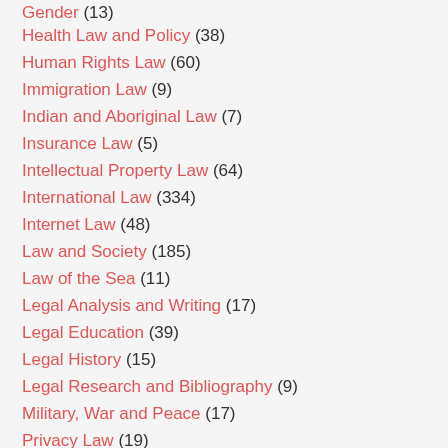Gender (13)
Health Law and Policy (38)
Human Rights Law (60)
Immigration Law (9)
Indian and Aboriginal Law (7)
Insurance Law (5)
Intellectual Property Law (64)
International Law (334)
Internet Law (48)
Law and Society (185)
Law of the Sea (11)
Legal Analysis and Writing (17)
Legal Education (39)
Legal History (15)
Legal Research and Bibliography (9)
Military, War and Peace (17)
Privacy Law (19)
Professional Ethics (7)